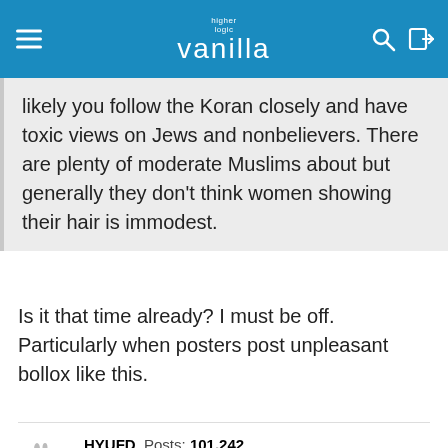higher logic vanilla [navigation bar]
likely you follow the Koran closely and have toxic views on Jews and nonbelievers. There are plenty of moderate Muslims about but generally they don't think women showing their hair is immodest.
Is it that time already? I must be off. Particularly when posters post unpleasant bollox like this.
HYUFD  Posts: 101,242
August 2021
StuartDickson said:
show previous quotes
What a twat.